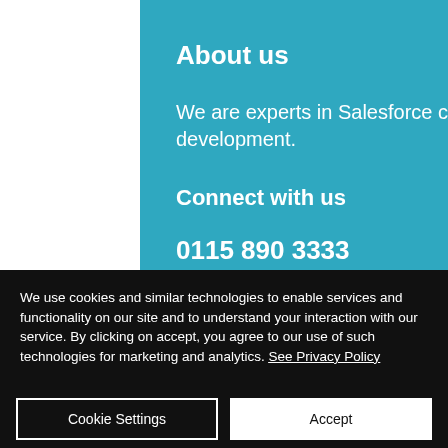About us
We are experts in Salesforce consultancy, configuration, design and development.
Connect with us
0115 890 3333
Facebook
Twitter
LinkedIn
We use cookies and similar technologies to enable services and functionality on our site and to understand your interaction with our service. By clicking on accept, you agree to our use of such technologies for marketing and analytics. See Privacy Policy
Cookie Settings
Accept